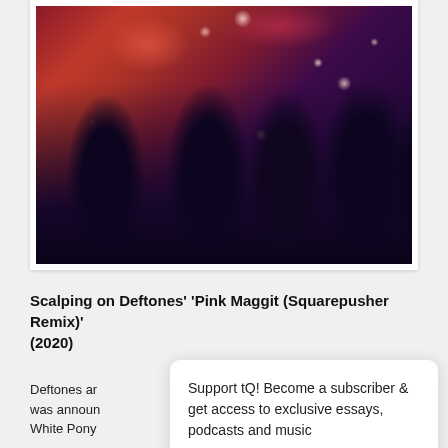[Figure (photo): A psychedelic-toned photo of a band (Deftones) with dark silhouetted figures against a vivid red/pink and deep purple background with glowing light orbs scattered throughout the image.]
Scalping on Deftones' 'Pink Maggit (Squarepusher Remix)' (2020)
Deftones ar
was announ
White Pony
Support tQ! Become a subscriber & get access to exclusive essays, podcasts and music